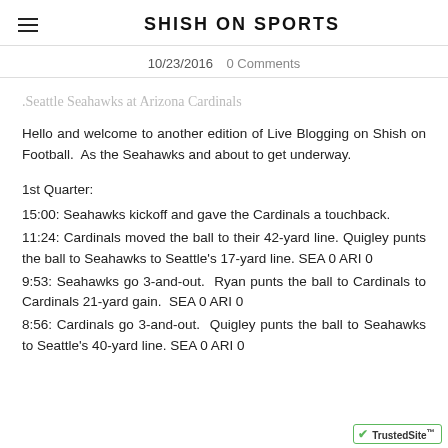SHISH ON SPORTS
10/23/2016   0 Comments
.Seattle Seahawks at Arizona Cardinals
Hello and welcome to another edition of Live Blogging on Shish on Football.  As the Seahawks and about to get underway.
1st Quarter:
15:00: Seahawks kickoff and gave the Cardinals a touchback.
11:24: Cardinals moved the ball to their 42-yard line. Quigley punts the ball to Seahawks to Seattle's 17-yard line. SEA 0 ARI 0
9:53: Seahawks go 3-and-out.  Ryan punts the ball to Cardinals to Cardinals 21-yard gain.  SEA 0 ARI 0
8:56: Cardinals go 3-and-out.  Quigley punts the ball to Seahawks to Seattle's 40-yard line. SEA 0 ARI 0